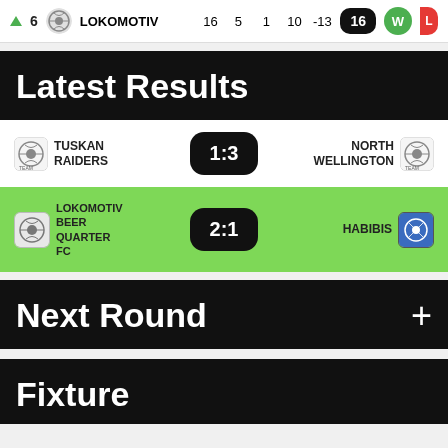|  | Rank | Team | P | W | D | L | GD | Pts | Form |
| --- | --- | --- | --- | --- | --- | --- | --- | --- | --- |
| ↑ | 6 | LOKOMOTIV | 16 | 5 | 1 | 10 | -13 | 16 | W |
Latest Results
| Home | Score | Away |
| --- | --- | --- |
| TUSKAN RAIDERS | 1:3 | NORTH WELLINGTON |
| LOKOMOTIV BEER QUARTER FC | 2:1 | HABIBIS |
Next Round
Fixture